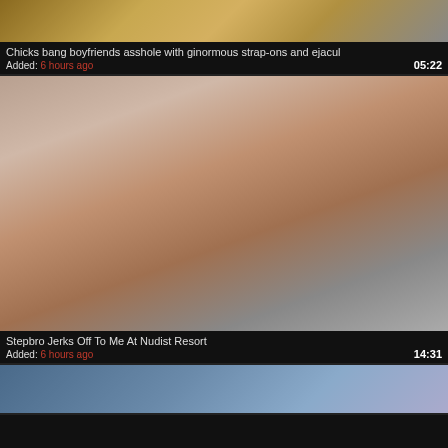[Figure (photo): Video thumbnail showing bedroom scene]
Chicks bang boyfriends asshole with ginormous strap-ons and ejacul
Added: 6 hours ago  05:22
[Figure (photo): Video thumbnail showing woman standing in room near door]
Stepbro Jerks Off To Me At Nudist Resort
Added: 6 hours ago  14:31
[Figure (photo): Video thumbnail partially visible at bottom]